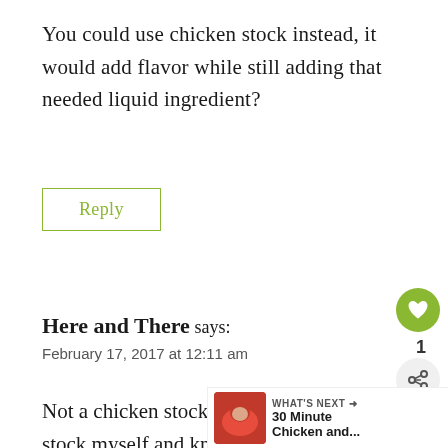You could use chicken stock instead, it would add flavor while still adding that needed liquid ingredient?
Reply
Here and There says:
February 17, 2017 at 12:11 am
Not a chicken stock fan! Unless I make the stock myself and know what